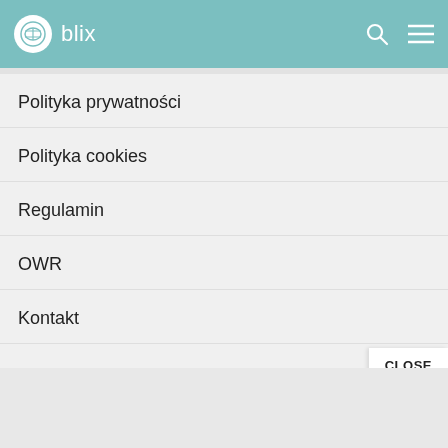blix
Polityka prywatności
Polityka cookies
Regulamin
OWR
Kontakt
Nasze produkty